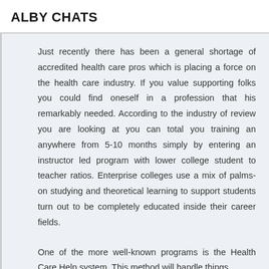ALBY CHATS
Just recently there has been a general shortage of accredited health care pros which is placing a force on the health care industry. If you value supporting folks you could find oneself in a profession that his remarkably needed. According to the industry of review you are looking at you can total you training an anywhere from 5-10 months simply by entering an instructor led program with lower college student to teacher ratios. Enterprise colleges use a mix of palms-on studying and theoretical learning to support students turn out to be completely educated inside their career fields.
One of the more well-known programs is the Health Care Help system. This method will handle things